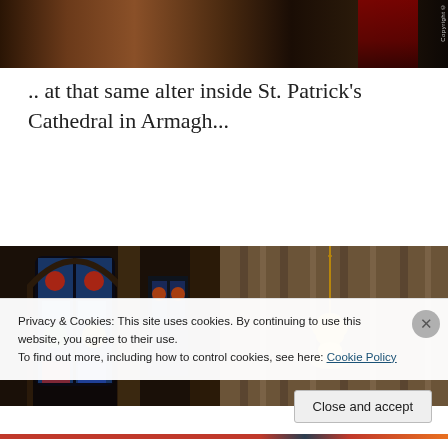[Figure (photo): Top portion of a photo showing a dark interior scene, partially cropped. A copyright watermark is visible on the right side.]
.. at that same alter inside St. Patrick's Cathedral in Armagh...
[Figure (photo): Interior of St. Patrick's Cathedral in Armagh showing Gothic arched columns, colorful stained glass windows on the left, stone pillars, and a golden hanging lamp/chandelier in the center foreground.]
Privacy & Cookies: This site uses cookies. By continuing to use this website, you agree to their use.
To find out more, including how to control cookies, see here: Cookie Policy
Close and accept